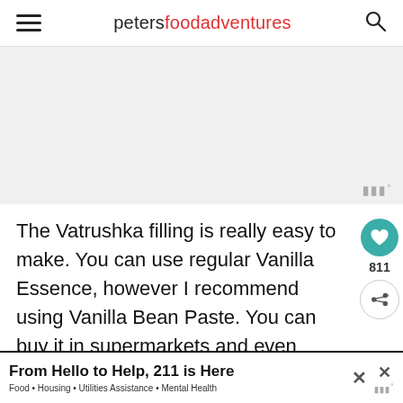petersfoodadventures
[Figure (other): Gray placeholder image area with 'WW°' badge at bottom right]
The Vatrushka filling is really easy to make. You can use regular Vanilla Essence, however I recommend using Vanilla Bean Paste. You can buy it in supermarkets and even Costco. The d...
[Figure (other): Advertisement banner: 'From Hello to Help, 211 is Here' with subtitle 'Food • Housing • Utilities Assistance • Mental Health']